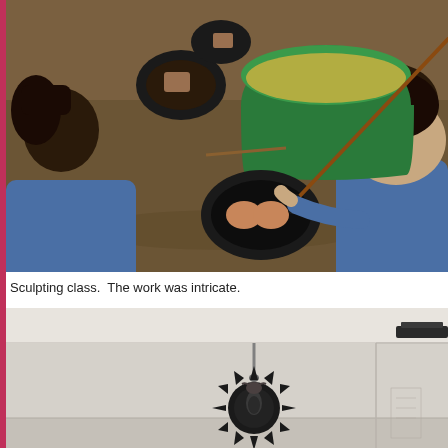[Figure (photo): Two students in blue school uniforms working on sculpting class. They are applying material with brushes to circular molds on the floor. A green bucket with liquid is visible in the background.]
Sculpting class.  The work was intricate.
[Figure (photo): Interior room with white walls and ceiling. A dark decorative circular spiky sculpture is mounted on the wall. The room has overhead lighting on the right side.]